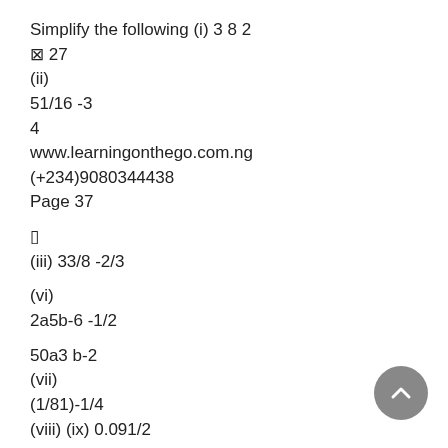Simplify the following (i) 3 8 2
⊠ 27
(ii)
51/16 -3
4
www.learningonthego.com.ng
(+234)9080344438
Page 37
▯
(iii) 33/8 -2/3
(vi)
2a5b-6 -1/2
50a3 b-2
(vii)
(1/81)-1/4
(viii) (ix) 0.091/2